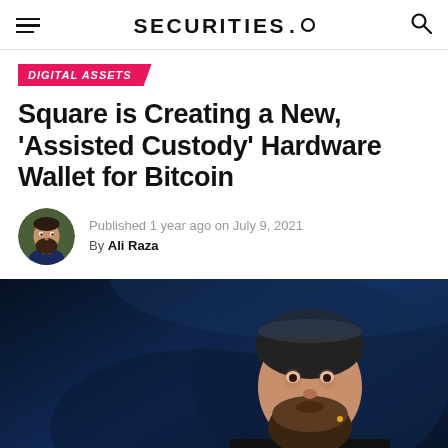SECURITIES.O
DIGITAL ASSETS
Square is Creating a New, 'Assisted Custody' Hardware Wallet for Bitcoin
Published 1 year ago on July 9, 2021
By Ali Raza
[Figure (photo): Photo of a bearded man wearing a black beanie hat and black clothing, speaking at an event against a dark blue background.]